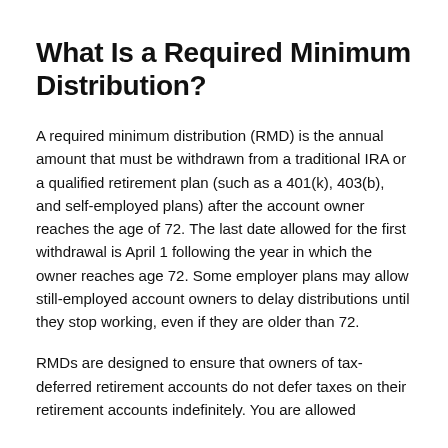What Is a Required Minimum Distribution?
A required minimum distribution (RMD) is the annual amount that must be withdrawn from a traditional IRA or a qualified retirement plan (such as a 401(k), 403(b), and self-employed plans) after the account owner reaches the age of 72. The last date allowed for the first withdrawal is April 1 following the year in which the owner reaches age 72. Some employer plans may allow still-employed account owners to delay distributions until they stop working, even if they are older than 72.
RMDs are designed to ensure that owners of tax-deferred retirement accounts do not defer taxes on their retirement accounts indefinitely. You are allowed